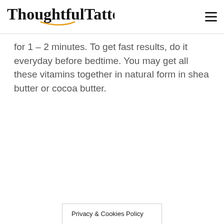ThoughtfulTattoos
for 1 – 2 minutes. To get fast results, do it everyday before bedtime. You may get all these vitamins together in natural form in shea butter or cocoa butter.
Privacy & Cookies Policy